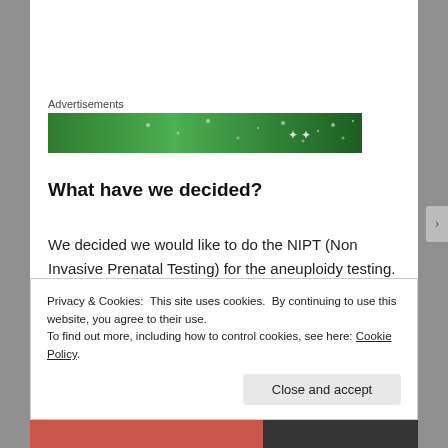Advertisements
[Figure (photo): Green advertisement banner with sparkle/star pattern]
What have we decided?
We decided we would like to do the NIPT (Non Invasive Prenatal Testing) for the aneuploidy testing.  Why? The accuracy is significantly higher than the other two tests and the false positive rate is very low (0.1%) compared to the other two tests (sequential screening rate is 3.5%, quad
Privacy & Cookies: This site uses cookies. By continuing to use this website, you agree to their use.
To find out more, including how to control cookies, see here: Cookie Policy
Close and accept